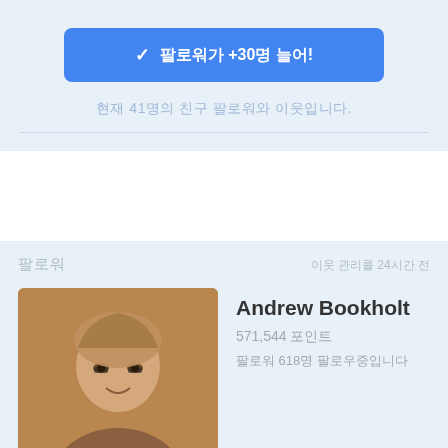✓ 팔로워가 +30명 늘어!
현재 41명의 친구 팔로워와 이웃입니다.
팔로워
이웃 관리를 24시간 전
Andrew Bookholt
571,544 포인트
팔로워 618명 팔로우중입니다